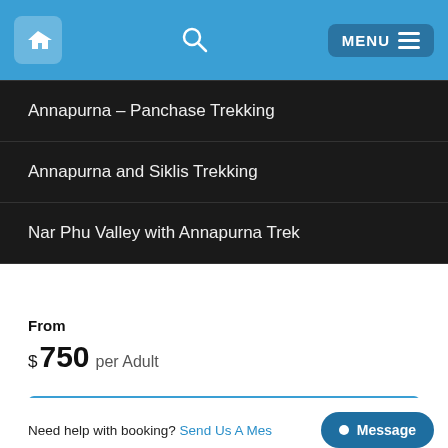[Figure (screenshot): Navigation bar with home icon, search icon, and MENU button on blue background]
Annapurna – Panchase Trekking
Annapurna and Siklis Trekking
Nar Phu Valley with Annapurna Trek
From
$ 750 per Adult
Check Availability
Need help with booking? Send Us A Mes… Message